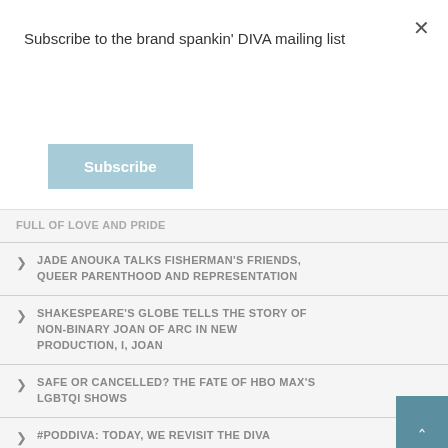Subscribe to the brand spankin' DIVA mailing list
Subscribe
FULL OF LOVE AND PRIDE
JADE ANOUKA TALKS FISHERMAN'S FRIENDS, QUEER PARENTHOOD AND REPRESENTATION
SHAKESPEARE'S GLOBE TELLS THE STORY OF NON-BINARY JOAN OF ARC IN NEW PRODUCTION, I, JOAN
SAFE OR CANCELLED? THE FATE OF HBO MAX'S LGBTQI SHOWS
#PODDIVA: TODAY, WE REVISIT THE DIVA